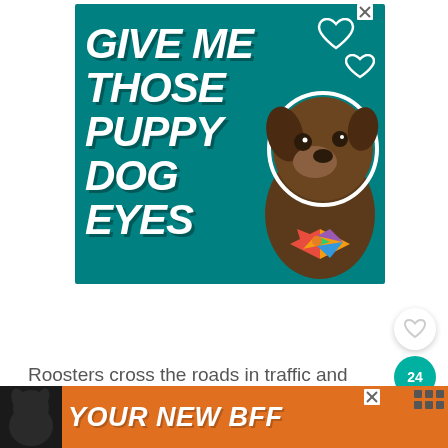[Figure (illustration): Advertisement banner with teal background showing a dog with a bowtie and bold italic white text reading 'GIVE ME THOSE PUPPY DOG EYES' with heart outlines]
[Figure (illustration): Heart icon outline (like/favorite button) in a white circle]
[Figure (illustration): Share count badge showing 24 in teal circle and share icon below]
Roosters cross the roads in traffic and have fi...
[Figure (illustration): Bottom advertisement banner with orange background, black dog silhouette, and white text 'YOUR NEW BFF']